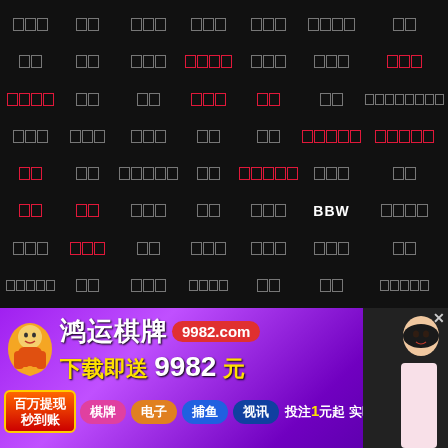[Figure (screenshot): Dark background webpage with a grid of censored/pixelated Chinese text labels arranged in rows, some in red/pink and some in grey/white, with 'BBW' visible in white. Bottom portion shows an advertisement banner for 鸿运棋牌 (Hongyun Card Game) at 9982.com with mascot character, girl photo, and promotional text offering 9982 yuan download bonus, with colored category buttons.]
BBW
[Figure (photo): Advertisement banner: 鸿运棋牌 9982.com 下载即送 9982 元 百万提现秒到账 棋牌 电子 捕鱼 视讯 投注1元起 实时返水3%]